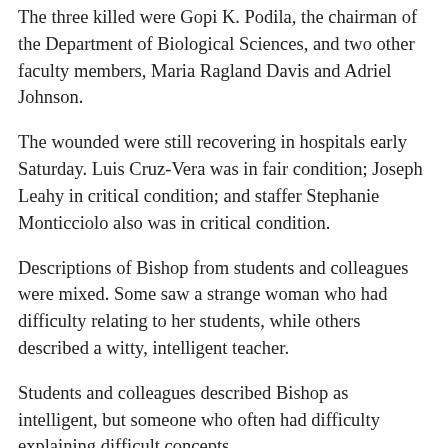The three killed were Gopi K. Podila, the chairman of the Department of Biological Sciences, and two other faculty members, Maria Ragland Davis and Adriel Johnson.
The wounded were still recovering in hospitals early Saturday. Luis Cruz-Vera was in fair condition; Joseph Leahy in critical condition; and staffer Stephanie Monticciolo also was in critical condition.
Descriptions of Bishop from students and colleagues were mixed. Some saw a strange woman who had difficulty relating to her students, while others described a witty, intelligent teacher.
Students and colleagues described Bishop as intelligent, but someone who often had difficulty explaining difficult concepts.
There are about 7,500 students at the university. The shooting was the latest of a string of school and university shootings in the US in recent years, but the first involving a woman.